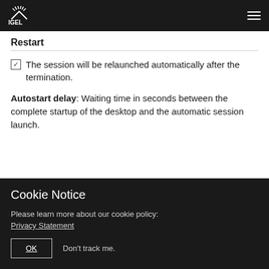IGEL (logo/hamburger nav bar)
Restart
☑ The session will be relaunched automatically after the termination.
Autostart delay: Waiting time in seconds between the complete startup of the desktop and the automatic session launch.
Cookie Notice
Please learn more about our cookie policy:
Privacy Statement
OK   Don't track me.